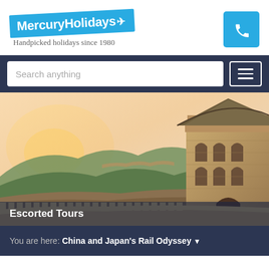[Figure (logo): Mercury Holidays logo — blue tilted badge with white text and airplane icon]
Handpicked holidays since 1980
[Figure (other): Blue phone icon button in top right corner]
Search anything
[Figure (other): Hamburger menu icon button]
[Figure (photo): Photo of the Great Wall of China with a watchtower at golden hour sunset, green forested hills in background]
Escorted Tours
You are here: China and Japan's Rail Odyssey